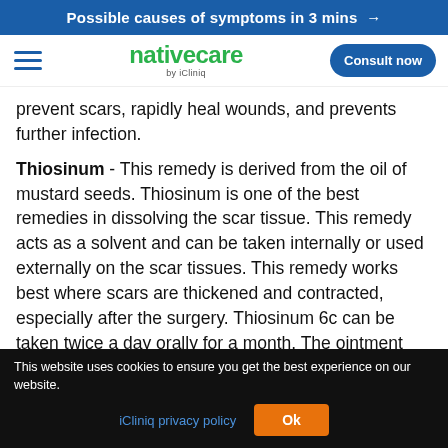Possible causes of symptoms in 3 mins →
[Figure (logo): Nativecare by iCliniq logo with hamburger menu and Consult now button]
prevent scars, rapidly heal wounds, and prevents further infection.
Thiosinum - This remedy is derived from the oil of mustard seeds. Thiosinum is one of the best remedies in dissolving the scar tissue. This remedy acts as a solvent and can be taken internally or used externally on the scar tissues. This remedy works best where scars are thickened and contracted, especially after the surgery. Thiosinum 6c can be taken twice a day orally for a month. The ointment can be applied to the scar for a month.
This website uses cookies to ensure you get the best experience on our website. iCliniq privacy policy  Ok